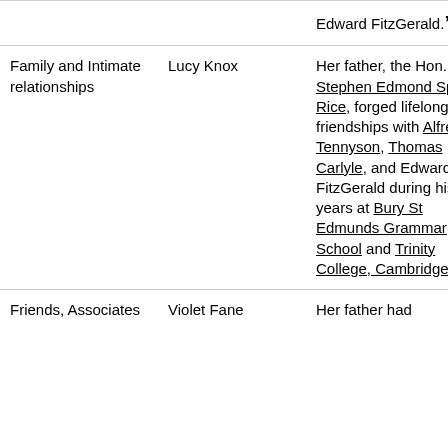|  |  | Edward FitzGerald.”” |
| Family and Intimate relationships | Lucy Knox | Her father, the Hon. Stephen Edmond Spring Rice, forged lifelong friendships with Alfred Tennyson, Thomas Carlyle, and Edward FitzGerald during his years at Bury St Edmunds Grammar School and Trinity College, Cambridge |
| Friends, Associates | Violet Fane | Her father had |